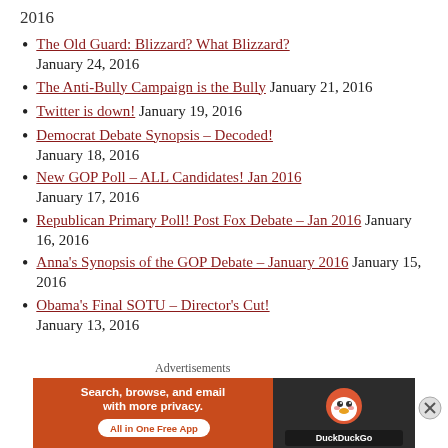2016
The Old Guard: Blizzard? What Blizzard? January 24, 2016
The Anti-Bully Campaign is the Bully January 21, 2016
Twitter is down! January 19, 2016
Democrat Debate Synopsis – Decoded! January 18, 2016
New GOP Poll – ALL Candidates! Jan 2016 January 17, 2016
Republican Primary Poll! Post Fox Debate – Jan 2016 January 16, 2016
Anna's Synopsis of the GOP Debate – January 2016 January 15, 2016
Obama's Final SOTU – Director's Cut! January 13, 2016
Advertisements
[Figure (infographic): DuckDuckGo advertisement banner: orange left panel with text 'Search, browse, and email with more privacy. All in One Free App', dark right panel with DuckDuckGo logo.]